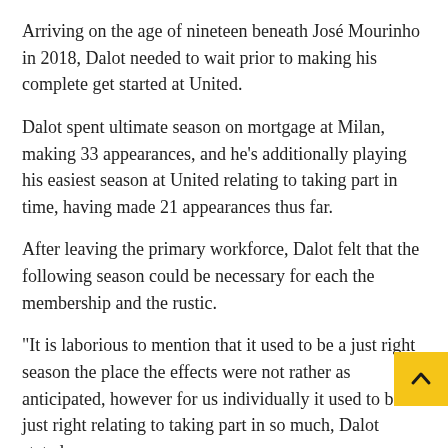Arriving on the age of nineteen beneath José Mourinho in 2018, Dalot needed to wait prior to making his complete get started at United.
Dalot spent ultimate season on mortgage at Milan, making 33 appearances, and he’s additionally playing his easiest season at United relating to taking part in time, having made 21 appearances thus far.
After leaving the primary workforce, Dalot felt that the following season could be necessary for each the membership and the rustic.
“It is laborious to mention that it used to be a just right season the place the effects were not rather as anticipated, however for us individually it used to be just right relating to taking part in so much,” Dalot stated.